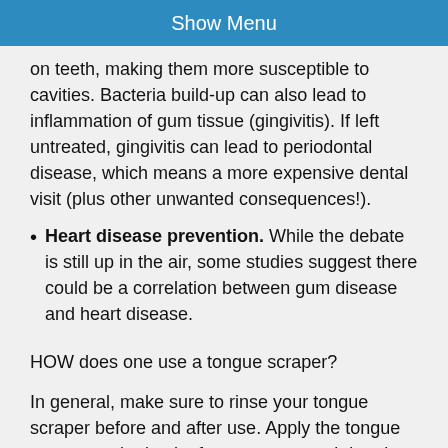Show Menu
on teeth, making them more susceptible to cavities. Bacteria build-up can also lead to inflammation of gum tissue (gingivitis). If left untreated, gingivitis can lead to periodontal disease, which means a more expensive dental visit (plus other unwanted consequences!).
Heart disease prevention. While the debate is still up in the air, some studies suggest there could be a correlation between gum disease and heart disease.
HOW does one use a tongue scraper?
In general, make sure to rinse your tongue scraper before and after use. Apply the tongue scraper to the back of your tongue and drag it forward. Then, rinse and repeat. Make sure to get the sides of your tongue as well, not just the center!